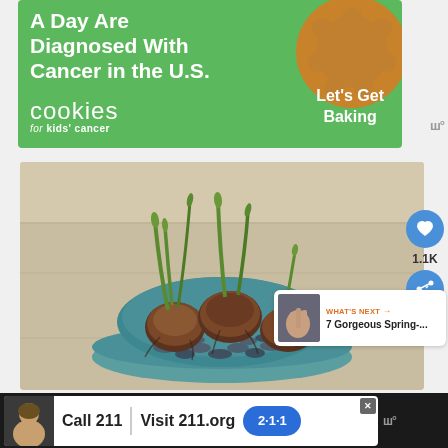[Figure (photo): Advertisement banner for 'cookies for kids cancer' charity on a green background with bold white text 'A Day Are Diagnosed With Cancer in the U.S.' and a cookie biscuit image with text 'Let's Get Baking']
[Figure (photo): Photo of spring bulbs with green shoots sprouting, placed in a teal/blue bowl filled with small stones, sitting on a light wooden surface]
1.1K
WHAT'S NEXT → 7 Gorgeous Spring-...
[Figure (photo): Bottom advertisement bar with dark background, showing a '211' helpline ad with 'Call 211 | Visit 211.org' text and a blue 211 badge, with a close button]